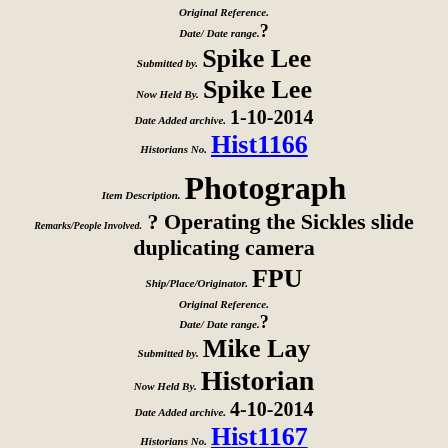Original Reference.
Date/ Date range. ?
Submitted by. Spike Lee
Now Held By. Spike Lee
Date Added archive. 1-10-2014
Historians No. Hist1166
Item Description. Photograph
Remarks/People Involved. ? Operating the Sickles slide duplicating camera
Ship/Place/Originator. FPU
Original Reference.
Date/ Date range. ?
Submitted by. Mike Lay
Now Held By. Historian
Date Added archive. 4-10-2014
Historians No. Hist1167
Item Description. Photograph
Remarks/People Involved. Karen Wood at the controls of the Video editor
Ship/Place/Originator. FPU